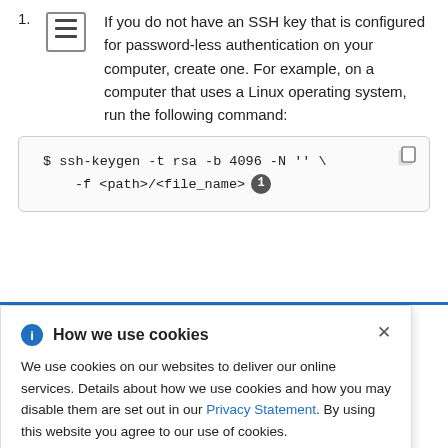1. If you do not have an SSH key that is configured for password-less authentication on your computer, create one. For example, on a computer that uses a Linux operating system, run the following command:
[Figure (screenshot): Code block showing: $ ssh-keygen -t rsa -b 4096 -N '' \ -f <path>/<file_name> with a callout badge numbered 1]
[Figure (screenshot): Cookie consent banner overlay: 'How we use cookies' with info icon and close X. Text: We use cookies on our websites to deliver our online services. Details about how we use cookies and how you may disable them are set out in our Privacy Statement. By using this website you agree to our use of cookies.]
2. Start the ssh-agent process as a background